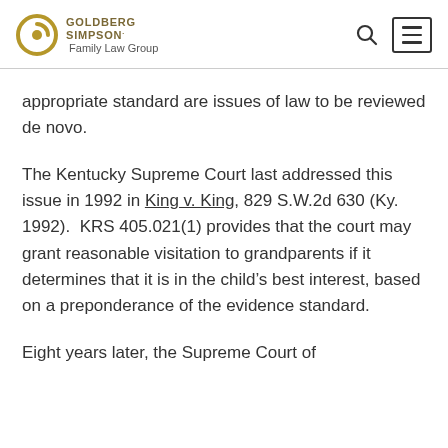GOLDBERG SIMPSON. Family Law Group
appropriate standard are issues of law to be reviewed de novo.
The Kentucky Supreme Court last addressed this issue in 1992 in King v. King, 829 S.W.2d 630 (Ky. 1992). KRS 405.021(1) provides that the court may grant reasonable visitation to grandparents if it determines that it is in the child’s best interest, based on a preponderance of the evidence standard.
Eight years later, the Supreme Court of